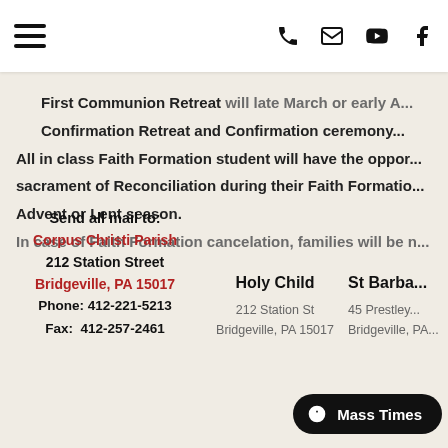Navigation bar with hamburger menu and icons (phone, email, YouTube, Facebook)
First Communion Retreat will late March or early A... Confirmation Retreat and Confirmation ceremony... All in class Faith Formation student will have the opportu... sacrament of Reconciliation during their Faith Formatio... Advent or Lent season. In case of Faith Formation cancelation, families will be n...
Send all mail to:
Corpus Christi Parish
212 Station Street
Bridgeville, PA 15017
Phone: 412-221-5213
Fax: 412-257-2461
Holy Child
212 Station St
Bridgeville, PA 15017
St Barba...
45 Prestley...
Bridgeville, PA...